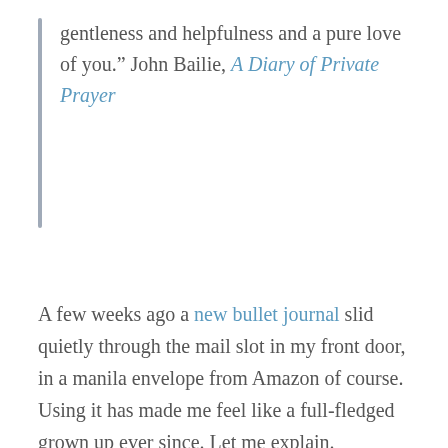gentleness and helpfulness and a pure love of you." John Bailie, A Diary of Private Prayer
A few weeks ago a new bullet journal slid quietly through the mail slot in my front door, in a manila envelope from Amazon of course. Using it has made me feel like a full-fledged grown up ever since. Let me explain.
Almost every single time I read from The Diary of Private Prayer it's as if God is filling in the blank spaces of my wandering thoughts with purpose and